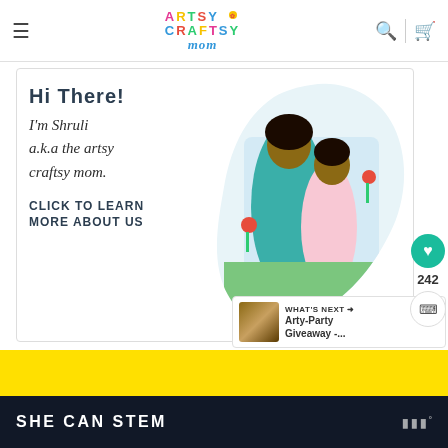Artsy Craftsy Mom — navigation header with hamburger menu, logo, search and cart icons
[Figure (infographic): About page card with text 'Hi There! I'm Shruli a.k.a the artsy craftsy mom. Click to learn more about us' alongside a circular/blob-shaped photo of a woman and young girl]
[Figure (photo): Thumbnail image of food/party items next to 'What's Next: Arty-Party Giveaway -...' label]
WHAT'S NEXT → Arty-Party Giveaway -...
SHE CAN STEM
[Figure (logo): SHE CAN STEM logo mark on the right side of dark bottom bar]